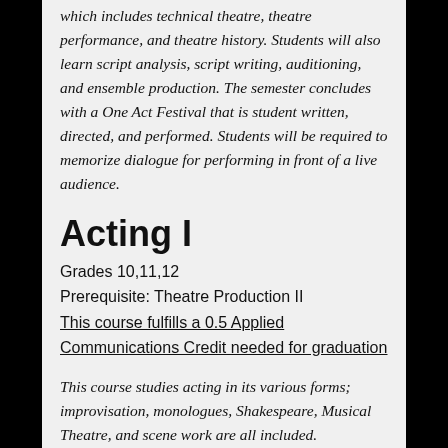which includes technical theatre, theatre performance, and theatre history. Students will also learn script analysis, script writing, auditioning, and ensemble production. The semester concludes with a One Act Festival that is student written, directed, and performed. Students will be required to memorize dialogue for performing in front of a live audience.
Acting I
Grades 10,11,12
Prerequisite: Theatre Production II
This course fulfills a 0.5 Applied Communications Credit needed for graduation
This course studies acting in its various forms; improvisation, monologues, Shakespeare, Musical Theatre, and scene work are all included. Techniques from various acting teachers will be covered including: Constantin Stanislavski, Sanford Meisner, Bertolt Brecht, Viola Spolin, and Uta Hagen. Students will be required to memorize dialogue for presentation